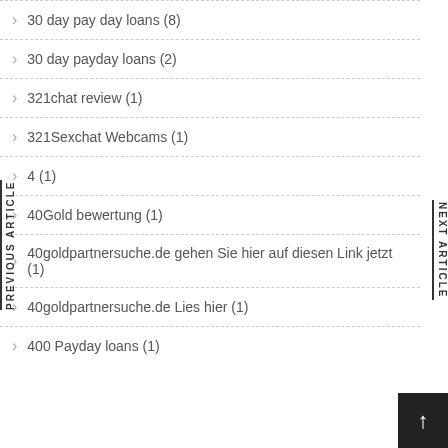30 day pay day loans (8)
30 day payday loans (2)
321chat review (1)
321Sexchat Webcams (1)
4 (1)
40Gold bewertung (1)
40goldpartnersuche.de gehen Sie hier auf diesen Link jetzt (1)
40goldpartnersuche.de Lies hier (1)
400 Payday loans (1)